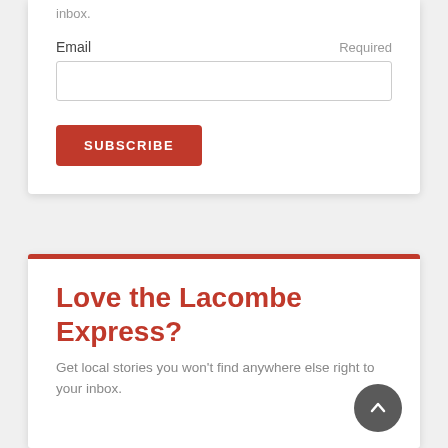inbox.
Email
Required
SUBSCRIBE
Love the Lacombe Express?
Get local stories you won't find anywhere else right to your inbox.